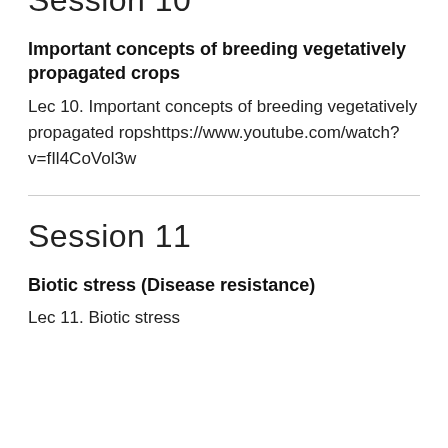Session 10
Important concepts of breeding vegetatively propagated crops
Lec 10. Important concepts of breeding vegetatively propagated ropshttps://www.youtube.com/watch?v=fIl4CoVol3w
Session 11
Biotic stress (Disease resistance)
Lec 11. Biotic stress